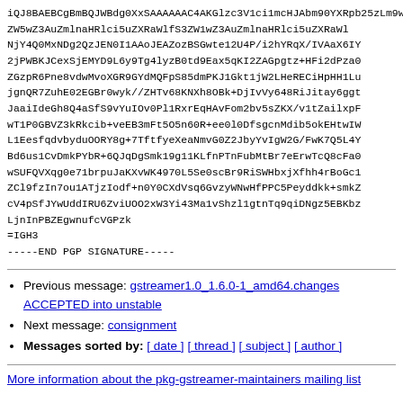iQJ8BAEBCgBmBQJWBdg0XxSAAAAAAC4AKGlzc3V1ci1mcHJAbm90YXRpb25zLm9wZW5wZ3AuZmlnaHRlci5uZXQZW5wZ3AuZmlnaHRlci5uZXRZW5wZ3AuZmlnaHRlci5uZXRaWlfS3...LjnInPBZEgwnufcVGPzk
=IGH3
-----END PGP SIGNATURE-----
Previous message: gstreamer1.0_1.6.0-1_amd64.changes ACCEPTED into unstable
Next message: consignment
Messages sorted by: [ date ] [ thread ] [ subject ] [ author ]
More information about the pkg-gstreamer-maintainers mailing list